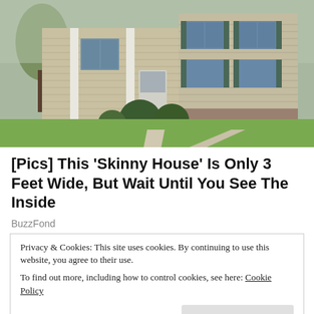[Figure (photo): Exterior photo of a two-story beige/tan house with colonial columns, dark green shutters, evergreen shrubs, and a green lawn in spring]
[Pics] This 'Skinny House' Is Only 3 Feet Wide, But Wait Until You See The Inside
BuzzFond
Privacy & Cookies: This site uses cookies. By continuing to use this website, you agree to their use.
To find out more, including how to control cookies, see here: Cookie Policy
Close and accept